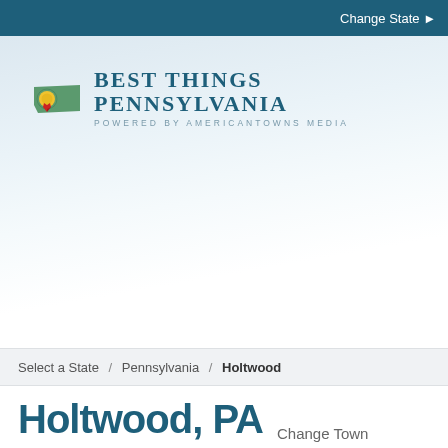Change State ▶
[Figure (logo): Best Things Pennsylvania logo — green Pennsylvania state shape with a gold/yellow medal ribbon, next to bold teal serif text 'Best Things Pennsylvania' and smaller grey uppercase text 'Powered by AmericanTowns Media']
Select a State / Pennsylvania / Holtwood
Holtwood, PA  Change Town